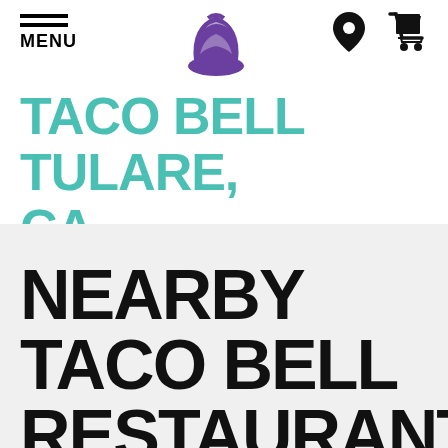[Figure (logo): Taco Bell logo - purple bell shape in center of header]
[Figure (other): Navigation icons: hamburger menu (MENU), location pin, shopping cart]
TACO BELL TULARE, CA
NEARBY TACO BELL RESTAURANTS